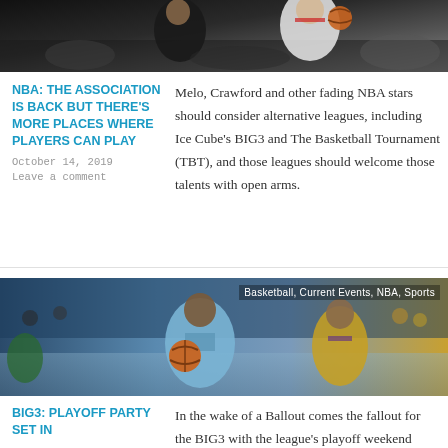[Figure (photo): Basketball game action photo showing players in black and white uniforms competing for the ball]
NBA: THE ASSOCIATION IS BACK BUT THERE'S MORE PLACES WHERE PLAYERS CAN PLAY
October 14, 2019
Leave a comment
Melo, Crawford and other fading NBA stars should consider alternative leagues, including Ice Cube's BIG3 and The Basketball Tournament (TBT), and those leagues should welcome those talents with open arms.
[Figure (photo): BIG3 basketball game photo showing player in light blue uniform dribbling against player in yellow Lakers uniform, with text overlay: Basketball, Current Events, NBA, Sports]
BIG3: PLAYOFF PARTY SET IN
In the wake of a Ballout comes the fallout for the BIG3 with the league's playoff weekend